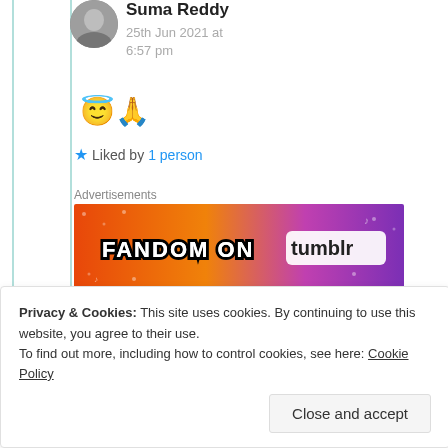Suma Reddy
25th Jun 2021 at 6:57 pm
😇🙏
★ Liked by 1 person
Advertisements
[Figure (illustration): Fandom on Tumblr advertisement banner with colorful orange-to-purple gradient background]
REPORT THIS AD
Privacy & Cookies: This site uses cookies. By continuing to use this website, you agree to their use.
To find out more, including how to control cookies, see here: Cookie Policy
Close and accept